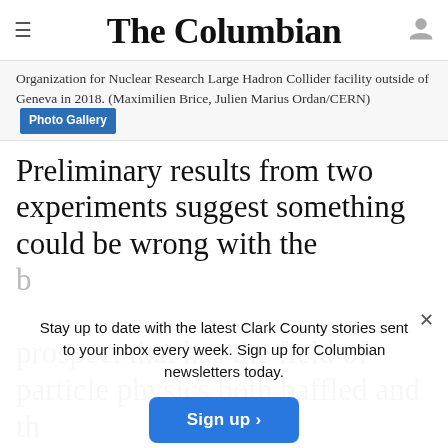The Columbian
Organization for Nuclear Research Large Hadron Collider facility outside of Geneva in 2018. (Maximilien Brice, Julien Marius Ordan/CERN) Photo Gallery
Preliminary results from two experiments suggest something could be wrong with the b… prospect that has the field of particle physics both baffled and th…
Stay up to date with the latest Clark County stories sent to your inbox every week. Sign up for Columbian newsletters today.